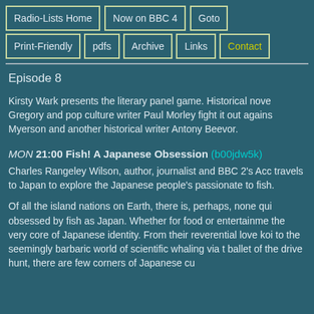Radio-Lists Home | Now on BBC 4 | Goto | Print-Friendly | pdfs | Archive | Links | Contact
Episode 8
Kirsty Wark presents the literary panel game. Historical novelist Philippa Gregory and pop culture writer Paul Morley fight it out against Julie Myerson and another historical writer Antony Beevor.
MON 21:00 Fish! A Japanese Obsession (b00jdw5k) Charles Rangeley Wilson, author, journalist and BBC 2's Accidental Angler, travels to Japan to explore the Japanese people's passionate relationship to fish.
Of all the island nations on Earth, there is, perhaps, none quite so obsessed by fish as Japan. Whether for food or entertainment, fish are at the very core of Japanese identity. From their reverential love of koi to the seemingly barbaric world of scientific whaling via the graceful ballet of the drive hunt, there are few corners of Japanese cu...